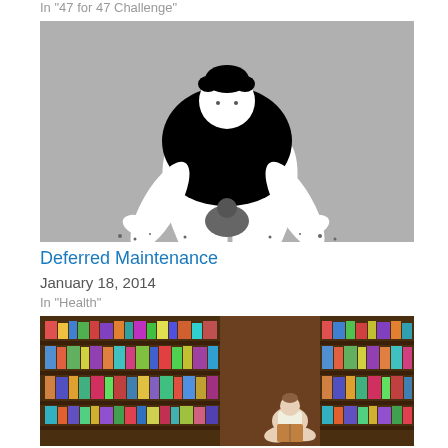In "47 for 47 Challenge"
[Figure (illustration): Black and white illustration of a person bent over in a stretching/exercise pose on a gray background]
Deferred Maintenance
January 18, 2014
In "Health"
[Figure (photo): Photo of a bookstore or library interior with shelves full of colorful books and a person sitting on the floor reading]